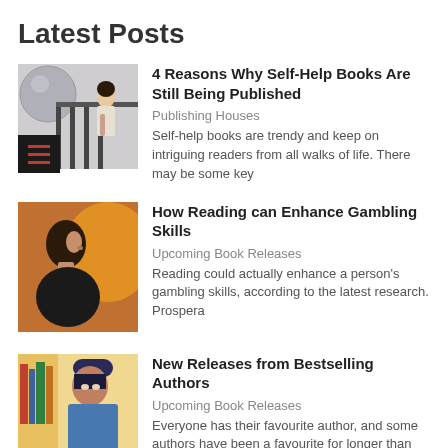Latest Posts
[Figure (photo): Woman standing on a balcony with a dark sphere decoration, and a hamburger menu overlay]
4 Reasons Why Self-Help Books Are Still Being Published
Publishing Houses
Self-help books are trendy and keep on intriguing readers from all walks of life. There may be some key
[Figure (photo): Close-up profile of a woman in warm backlit light]
How Reading can Enhance Gambling Skills
Upcoming Book Releases
Reading could actually enhance a person's gambling skills, according to the latest research. Prospera
[Figure (photo): Woman in a denim jacket and hat, reading in a library setting]
New Releases from Bestselling Authors
Upcoming Book Releases
Everyone has their favourite author, and some authors have been a favourite for longer than others.